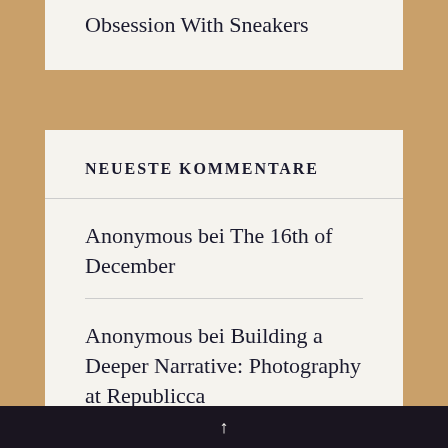Obsession With Sneakers
NEUESTE KOMMENTARE
Anonymous bei The 16th of December
Anonymous bei Building a Deeper Narrative: Photography at Republicca
Anonymous bei Building a Deeper Narrative: Photography at
↑